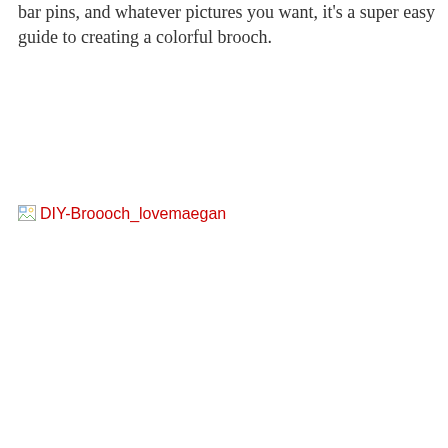bar pins, and whatever pictures you want, it's a super easy guide to creating a colorful brooch.
[Figure (other): Broken image placeholder with alt text 'DIY-Broooch_lovemaegan']